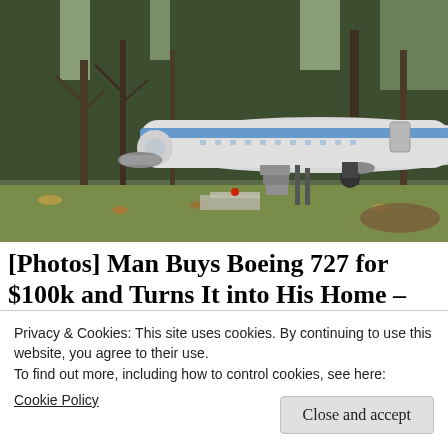[Figure (photo): A retired Boeing 727 aircraft sitting in a wooded area on a grassy lawn. The plane is white/silver with a blue stripe. Bare trees surround it and there are construction materials and a staircase structure underneath the fuselage. Autumn leaves on the ground.]
[Photos] Man Buys Boeing 727 for $100k and Turns It into His Home – Look Inside
Privacy & Cookies: This site uses cookies. By continuing to use this website, you agree to their use.
To find out more, including how to control cookies, see here:
Cookie Policy
Close and accept